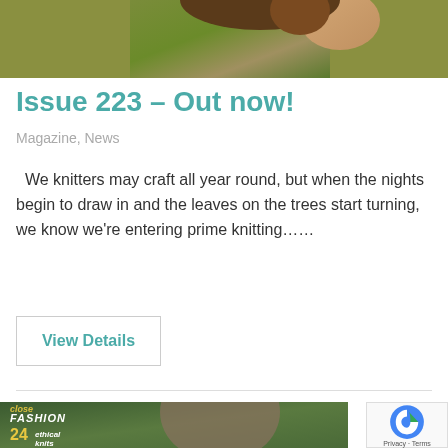[Figure (photo): Top portion of a woman wearing a yellow-green textured knit sweater, curly hair visible]
Issue 223 – Out now!
Magazine, News
We knitters may craft all year round, but when the nights begin to draw in and the leaves on the trees start turning, we know we're entering prime knitting……
View Details
[Figure (photo): Bottom portion of a magazine cover showing 'FASHION 24 ethical knits' text overlay on photo of a person]